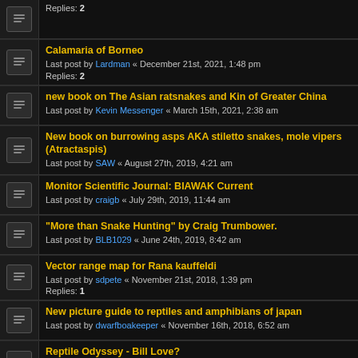Replies: 2
Calamaria of Borneo
Last post by Lardman « December 21st, 2021, 1:48 pm
Replies: 2
new book on The Asian ratsnakes and Kin of Greater China
Last post by Kevin Messenger « March 15th, 2021, 2:38 am
New book on burrowing asps AKA stiletto snakes, mole vipers (Atractaspis)
Last post by SAW « August 27th, 2019, 4:21 am
Monitor Scientific Journal: BIAWAK Current
Last post by craigb « July 29th, 2019, 11:44 am
"More than Snake Hunting" by Craig Trumbower.
Last post by BLB1029 « June 24th, 2019, 8:42 am
Vector range map for Rana kauffeldi
Last post by sdpete « November 21st, 2018, 1:39 pm
Replies: 1
New picture guide to reptiles and amphibians of japan
Last post by dwarfboakeeper « November 16th, 2018, 6:52 am
Reptile Odyssey - Bill Love?
Last post by Philsuma « September 14th, 2018, 1:46 pm
Replies: 4
Where to buy C.American field guide pdf/ebook?
Last post by weigi « June 11th, 2018, 12:29 am
TURTLES OF THE WORLD